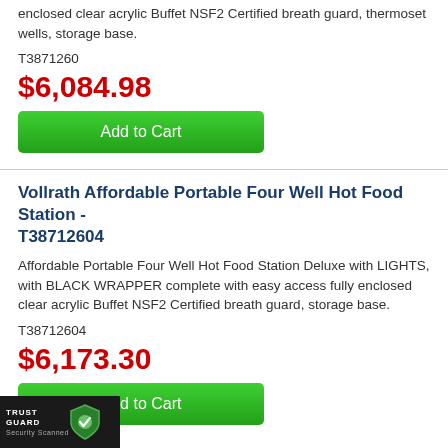enclosed clear acrylic Buffet NSF2 Certified breath guard, thermoset wells, storage base.
T3871260
$6,084.98
Add to Cart
Vollrath Affordable Portable Four Well Hot Food Station - T38712604
Affordable Portable Four Well Hot Food Station Deluxe with LIGHTS, with BLACK WRAPPER complete with easy access fully enclosed clear acrylic Buffet NSF2 Certified breath guard, storage base.
T38712604
$6,173.30
Add to Cart
[Figure (logo): TrustGuard Security Scanned badge with shield icon]